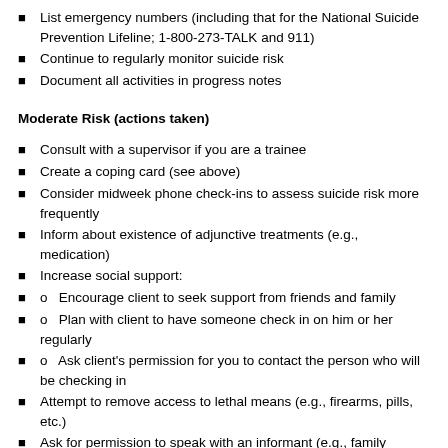List emergency numbers (including that for the National Suicide Prevention Lifeline; 1-800-273-TALK and 911)
Continue to regularly monitor suicide risk
Document all activities in progress notes
Moderate Risk (actions taken)
Consult with a supervisor if you are a trainee
Create a coping card (see above)
Consider midweek phone check-ins to assess suicide risk more frequently
Inform about existence of adjunctive treatments (e.g., medication)
Increase social support:
o   Encourage client to seek support from friends and family
o   Plan with client to have someone check in on him or her regularly
o   Ask client's permission for you to contact the person who will be checking in
Attempt to remove access to lethal means (e.g., firearms, pills, etc.)
Ask for permission to speak with an informant (e.g., family member, romantic partner), with the appropriate release
Continue to regularly monitor suicide risk
Document all activities in progress notes